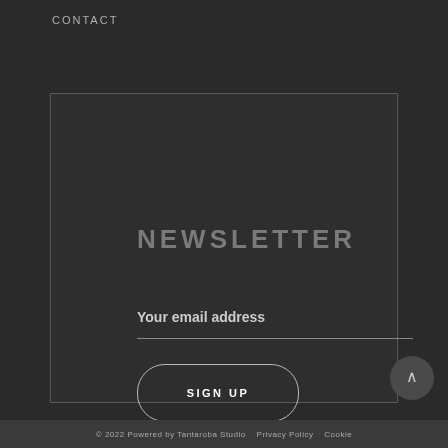CONTACT
NEWSLETTER
Your email address
SIGN UP
© 2022 Powered by Tantaroba Studio   Privacy Policy   Cookie